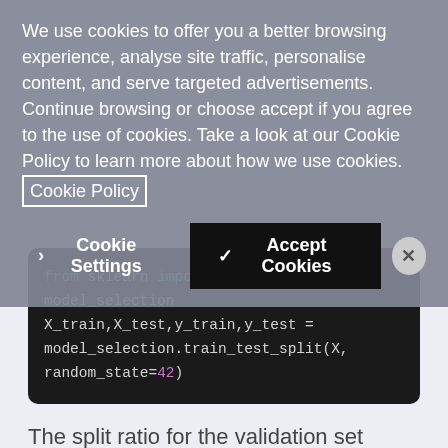We use cookies to offer you a better browsing experience, analyse site traffic, personalise content, and serve targeted advertisements. Continue browsing or choose accept if you agree to the use of cookies. Take a look at our Cookie Policy to learn more about how we use cookies. Cookie Policy
> Cookie Settings   ✓ Accept Cookies   ✕
from sklearn import model_selection
X_train,X_test,y_train,y_test = model_selection.train_test_split(X,
random_state=42)
The split ratio for the validation set is 20% of the training data.
Model Building